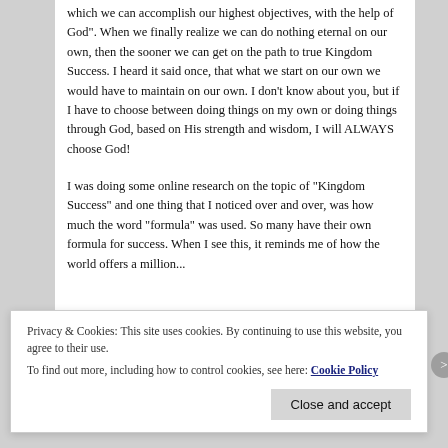which we can accomplish our highest objectives, with the help of God". When we finally realize we can do nothing eternal on our own, then the sooner we can get on the path to true Kingdom Success. I heard it said once, that what we start on our own we would have to maintain on our own. I don't know about you, but if I have to choose between doing things on my own or doing things through God, based on His strength and wisdom, I will ALWAYS choose God!
I was doing some online research on the topic of “Kingdom Success” and one thing that I noticed over and over, was how much the word “formula” was used. So many have their own formula for success. When I see this, it reminds me of how the world offers a million...
Privacy & Cookies: This site uses cookies. By continuing to use this website, you agree to their use.
To find out more, including how to control cookies, see here: Cookie Policy